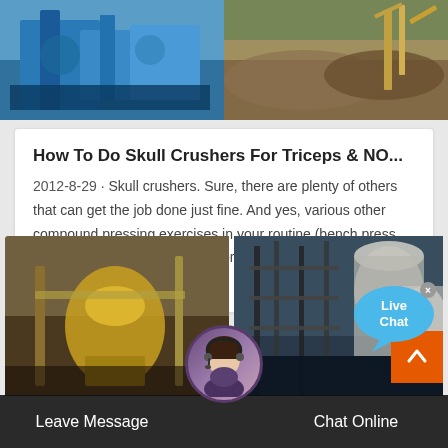[Figure (photo): Two industrial/mining equipment photos side by side at the top - left shows blue machinery, right shows construction/aggregate site with yellow equipment]
How To Do Skull Crushers For Triceps & NO...
2012-8-29 · Skull crushers. Sure, there are plenty of others that can get the job done just fine. And yes, various other compound pressing exercises in your routine (bench press, shoulder press, etc.) will likely produce the majority of your triceps size and strength gains.
[Figure (illustration): Live Chat bubble overlay with blue speech bubble and 'Live Chat' text with close button]
[Figure (photo): Bottom row of two industrial/mining photos - left shows yellow cone crusher equipment, right shows industrial scaffolding and tanks]
Leave Message
Chat Online